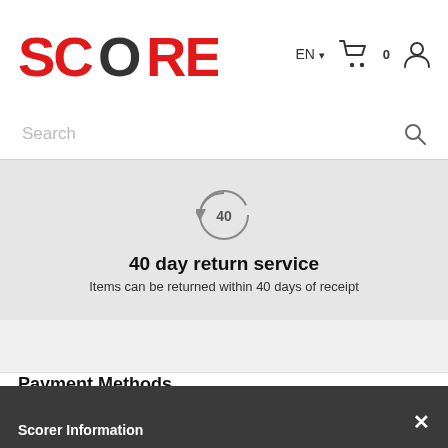[Figure (logo): SCORER logo in red and black text]
EN ▾  🛒 0  👤
Search
[Figure (infographic): 40 day return service icon with circular arrow and '40' inside]
40 day return service
Items can be returned within 40 days of receipt
Payment Methods
[Figure (logo): MasterCard logo]
[Figure (logo): VISA logo]
[Figure (logo): PayPal logo]
^ Top
Scorer Information
✕